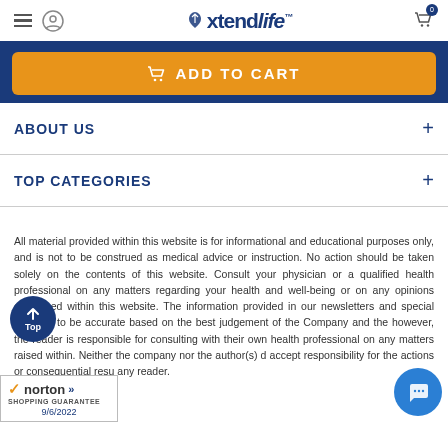Xtendlife
ADD TO CART
ABOUT US
TOP CATEGORIES
All material provided within this website is for informational and educational purposes only, and is not to be construed as medical advice or instruction. No action should be taken solely on the contents of this website. Consult your physician or a qualified health professional on any matters regarding your health and well-being or on any opinions expressed within this website. The information provided in our newsletters and special believed to be accurate based on the best judgement of the Company and the however, the reader is responsible for consulting with their own health professional on any matters raised within. Neither the company nor the author(s) d accept responsibility for the actions or consequential resu any reader.